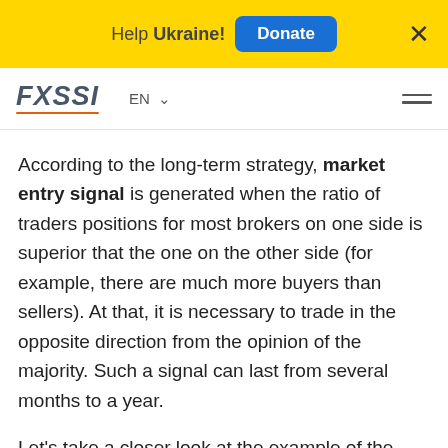Help Ukraine! Donate ×
[Figure (logo): FXSSI logo with orange underline, EN language selector, and hamburger menu icon]
According to the long-term strategy, market entry signal is generated when the ratio of traders positions for most brokers on one side is superior that the one on the other side (for example, there are much more buyers than sellers). At that, it is necessary to trade in the opposite direction from the opinion of the majority. Such a signal can last from several months to a year.
Let's take a closer look at the example of the